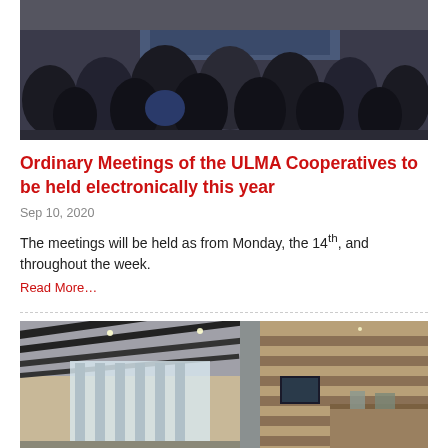[Figure (photo): Photo of audience/attendees at a meeting or conference, viewed from behind, seated in rows.]
Ordinary Meetings of the ULMA Cooperatives to be held electronically this year
Sep 10, 2020
The meetings will be held as from Monday, the 14th, and throughout the week.
Read More…
[Figure (photo): Photo of a modern interior space, possibly a conference or lounge area with ceiling panels, large windows, and seating. A screen is visible in the background.]